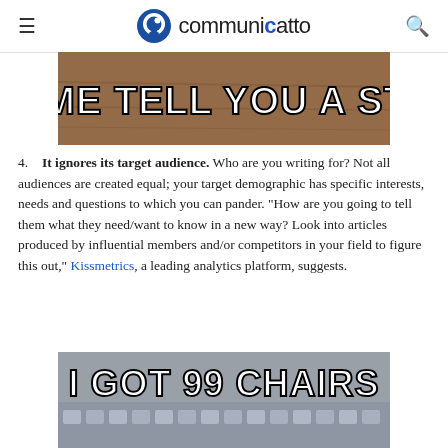communicatto
[Figure (photo): Meme image with text 'LET ME TELL YOU A STORY' on a wooden floor background]
4. It ignores its target audience. Who are you writing for? Not all audiences are created equal; your target demographic has specific interests, needs and questions to which you can pander. "How are you going to tell them what they need/want to know in a new way? Look into articles produced by influential members and/or competitors in your field to figure this out," Kissmetrics, a leading analytics platform, suggests.
[Figure (photo): Meme image with text 'I GOT 99 CHAIRS' over rows of stadium chairs]